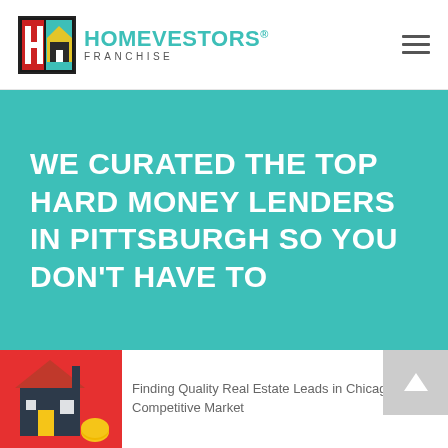[Figure (logo): HomeVestors Franchise logo with teal text and a house icon]
WE CURATED THE TOP HARD MONEY LENDERS IN PITTSBURGH SO YOU DON'T HAVE TO
[Figure (illustration): Red background illustration of a house with coins]
Finding Quality Real Estate Leads in Chicago's Competitive Market
[Figure (illustration): Blue background illustration with financial/money graphics]
Finding Premier Hard Money Lenders in Upstate NY for Quick Investment Funding